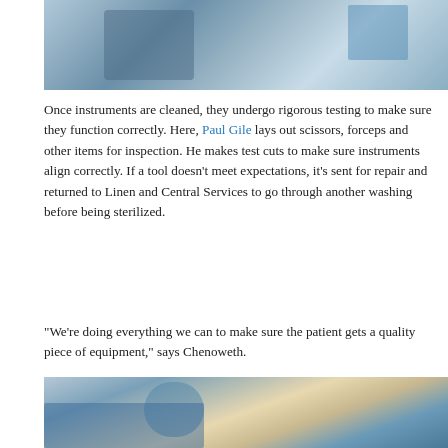[Figure (photo): Person in blue scrubs and gloves working with surgical instruments on a tray in a sterile processing room]
Once instruments are cleaned, they undergo rigorous testing to make sure they function correctly. Here, Paul Gile lays out scissors, forceps and other items for inspection. He makes test cuts to make sure instruments align correctly. If a tool doesn't meet expectations, it's sent for repair and returned to Linen and Central Services to go through another washing before being sterilized.
"We're doing everything we can to make sure the patient gets a quality piece of equipment," says Chenoweth.
[Figure (photo): Healthcare worker wearing blue scrubs, hair net and mask handling blue linen or fabric items in a hospital setting]